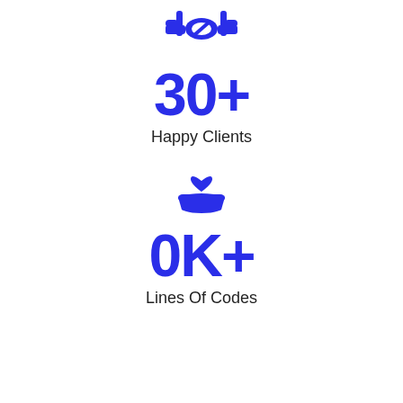[Figure (illustration): Blue handshake icon at the top of the page]
30+
Happy Clients
[Figure (illustration): Blue heart on a hand (care/giving) icon]
0K+
Lines Of Codes